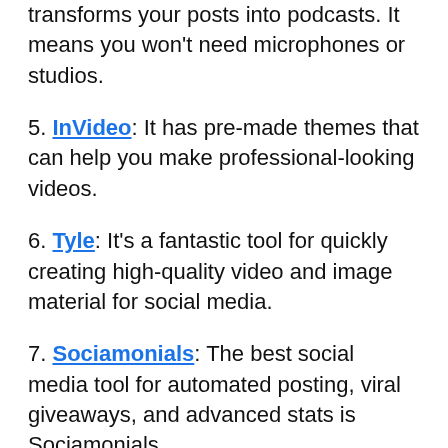transforms your posts into podcasts. It means you won't need microphones or studios.
5. InVideo: It has pre-made themes that can help you make professional-looking videos.
6. Tyle: It's a fantastic tool for quickly creating high-quality video and image material for social media.
7. Sociamonials: The best social media tool for automated posting, viral giveaways, and advanced stats is Sociamonials.
8. FreshStock: FreshStock offers tens of thousands of high-quality vectors and illustrations. So, take advantage of this offer